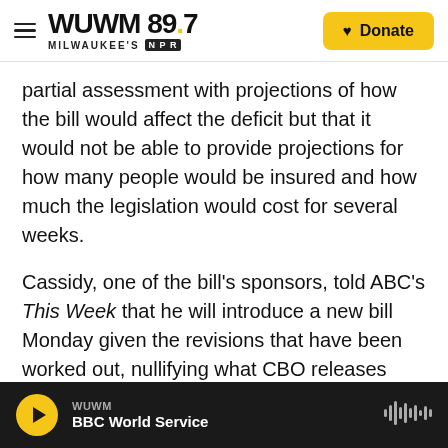WUWM 89.7 MILWAUKEE'S NPR | Donate
partial assessment with projections of how the bill would affect the deficit but that it would not be able to provide projections for how many people would be insured and how much the legislation would cost for several weeks.
Cassidy, one of the bill's sponsors, told ABC's This Week that he will introduce a new bill Monday given the revisions that have been worked out, nullifying what CBO releases Monday.
Republicans need 50 of their 52 senators to vote for the bill under special budget rules that allow them
WUWM | BBC World Service